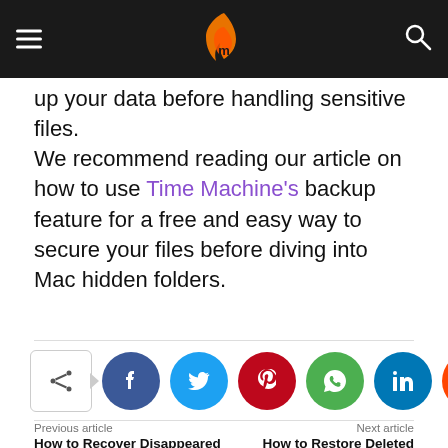[Navigation bar with hamburger menu, logo, and search icon]
up your data before handling sensitive files.
We recommend reading our article on how to use Time Machine's backup feature for a free and easy way to secure your files before diving into Mac hidden folders.
[Figure (infographic): Social share buttons row: share icon button, Facebook (blue circle), Twitter (cyan circle), Pinterest (red circle), WhatsApp (green circle), LinkedIn (dark blue circle), Reddit (orange circle)]
Previous article
Next article
How to Recover Disappeared
How to Restore Deleted